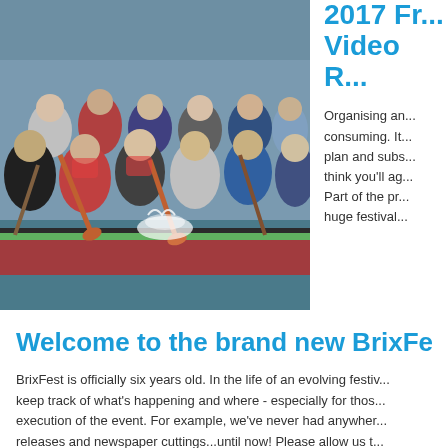[Figure (photo): Dragon boat racing photo showing multiple rowers paddling intensely in a decorated boat, water splashing, people in life jackets and casual clothes]
2017 Fr... Video R...
Organising an... consuming. It... plan and subs... think you'll ag... Part of the pr... huge festival...
Welcome to the brand new BrixFest
BrixFest is officially six years old. In the life of an evolving festiv... keep track of what's happening and where - especially for thos... execution of the event. For example, we've never had anywher... releases and newspaper cuttings...until now! Please allow us t... BrixFest 'News Page'. This page will serve as home to blog-sty... the